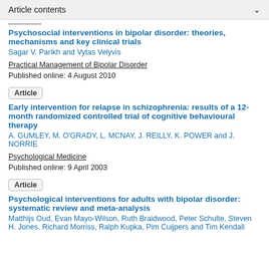Article contents
Psychosocial interventions in bipolar disorder: theories, mechanisms and key clinical trials
Sagar V. Parikh and Vytas Velyvis
Practical Management of Bipolar Disorder
Published online: 4 August 2010
Article
Early intervention for relapse in schizophrenia: results of a 12-month randomized controlled trial of cognitive behavioural therapy
A. GUMLEY, M. O'GRADY, L. MCNAY, J. REILLY, K. POWER and J. NORRIE
Psychological Medicine
Published online: 9 April 2003
Article
Psychological interventions for adults with bipolar disorder: systematic review and meta-analysis
Matthijs Oud, Evan Mayo-Wilson, Ruth Braidwood, Peter Schulte, Steven H. Jones, Richard Morriss, Ralph Kupka, Pim Cuijpers and Tim Kendall